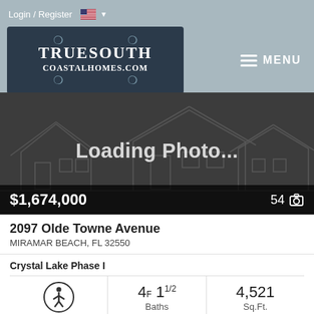Login / Register
[Figure (logo): TrueSouth CoastalHomes.com logo on dark navy background with decorative border]
[Figure (photo): Loading Photo... placeholder with faint house outline illustration on dark background. Shows price $1,674,000 and photo count 54]
2097 Olde Towne Avenue
MIRAMAR BEACH, FL 32550
Crystal Lake Phase I
4F 1 1/2 Baths
4,521 Sq.Ft.
MLS #: 905427